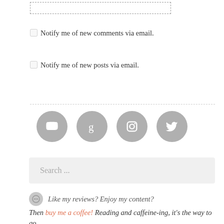[Figure (screenshot): A dashed-border input box at the top of the page]
Notify me of new comments via email.
Notify me of new posts via email.
[Figure (infographic): Four gray circular social media icons: YouTube, Goodreads, Instagram, Twitter]
Search ...
Like my reviews? Enjoy my content?
Then buy me a coffee! Reading and caffeine-ing, it's the way to go.